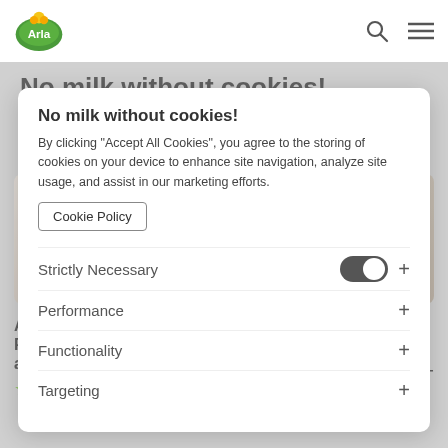[Figure (screenshot): Arla website screenshot showing recipe page with cookie consent overlay. Nav bar with Arla logo, search and menu icons. Background shows 'No milk without cookies!' heading, 'Total recipes - 9', Popularity sort, two recipe card images with labels 'Strictly Necessary', 'Performance', two recipe entries: 'Arla Skyr with Pistachio, Raspberry and Mint' (4 stars, 1 review) and 'Protein Drink with Sea Buckthorn' (0 reviews). Overlaid cookie consent dialog with text about accepting cookies, Cookie Policy link, and category toggles for Strictly Necessary, Performance, Functionality, Targeting.]